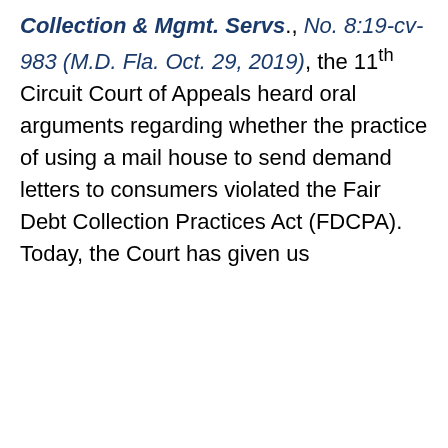Collection & Mgmt. Servs., No. 8:19-cv-983 (M.D. Fla. Oct. 29, 2019), the 11th Circuit Court of Appeals heard oral arguments regarding whether the practice of using a mail house to send demand letters to consumers violated the Fair Debt Collection Practices Act (FDCPA). Today, the Court has given us
We use cookies on our website to give you the most relevant experience by remembering your preferences and repeat visits. By clicking "Accept All", you consent to the use of ALL the cookies. However, you may visit "Cookie Settings" to provide a controlled consent.